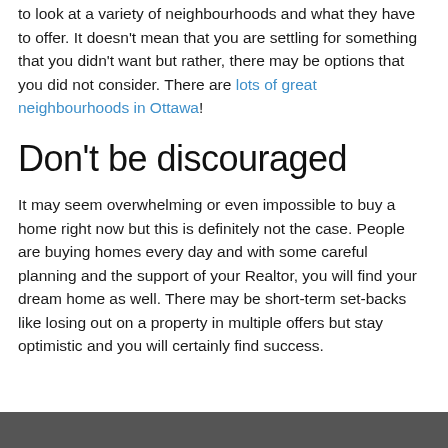to look at a variety of neighbourhoods and what they have to offer. It doesn't mean that you are settling for something that you didn't want but rather, there may be options that you did not consider. There are lots of great neighbourhoods in Ottawa!
Don't be discouraged
It may seem overwhelming or even impossible to buy a home right now but this is definitely not the case. People are buying homes every day and with some careful planning and the support of your Realtor, you will find your dream home as well. There may be short-term set-backs like losing out on a property in multiple offers but stay optimistic and you will certainly find success.